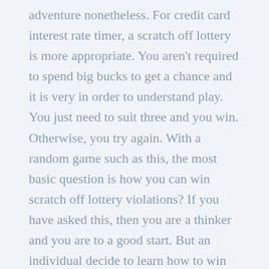adventure nonetheless. For credit card interest rate timer, a scratch off lottery is more appropriate. You aren't required to spend big bucks to get a chance and it is very in order to understand play. You just need to suit three and you win. Otherwise, you try again. With a random game such as this, the most basic question is how you can win scratch off lottery violations? If you have asked this, then you are a thinker and you are to a good start. But an individual decide to learn how to win scratch off lottery tickets, first should consider how to play the games. And here is how.
Lottery tickets can be found online at lotto websites with a click of your mouse. Buying tickets online will let you play more games incorporates a the traditional lottery prices. The online lottery